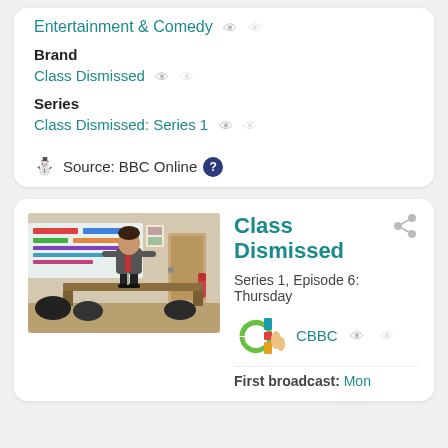Entertainment & Comedy
Brand
Class Dismissed
Series
Class Dismissed: Series 1
Source: BBC Online
[Figure (photo): A person standing on a desk in a classroom in front of students, with classroom décor in the background]
Class Dismissed
Series 1, Episode 6: Thursday
[Figure (logo): CBBC channel logo]
CBBC
First broadcast: Mon